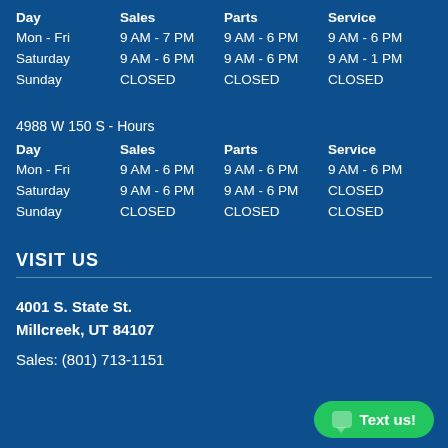| Day | Sales | Parts | Service |
| --- | --- | --- | --- |
| Mon - Fri | 9 AM - 7 PM | 9 AM - 6 PM | 9 AM - 6 PM |
| Saturday | 9 AM - 6 PM | 9 AM - 6 PM | 9 AM - 1 PM |
| Sunday | CLOSED | CLOSED | CLOSED |
4988 W 150 S - Hours
| Day | Sales | Parts | Service |
| --- | --- | --- | --- |
| Mon - Fri | 9 AM - 6 PM | 9 AM - 6 PM | 9 AM - 6 PM |
| Saturday | 9 AM - 6 PM | 9 AM - 6 PM | CLOSED |
| Sunday | CLOSED | CLOSED | CLOSED |
VISIT US
4001 S. State St.
Millcreek, UT 84107
Sales: (801) 713-1151